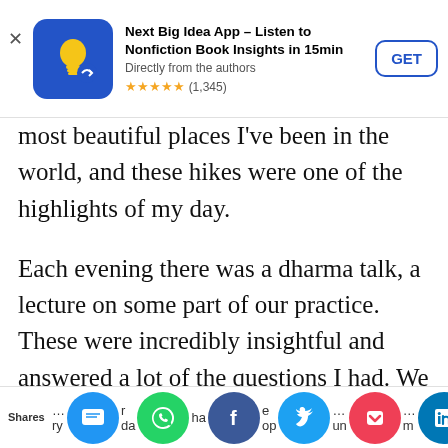[Figure (screenshot): App store advertisement banner for 'Next Big Idea App – Listen to Nonfiction Book Insights in 15min', showing app icon (blue background with yellow lightbulb), title, subtitle 'Directly from the authors', star rating 4.5 stars (1,345), and a GET button.]
most beautiful places I've been in the world, and these hikes were one of the highlights of my day.
Each evening there was a dharma talk, a lecture on some part of our practice. These were incredibly insightful and answered a lot of the questions I had. We had world class teachers, so as someone who is deeply curious about the nature of mind and consciousness I couldn't get enough. So good.
[Figure (screenshot): Social sharing bar at bottom showing 'Shares' label followed by partially visible text and social media icons: SMS (blue), WhatsApp (green), Facebook (dark blue), Twitter (light blue), Pocket (red), LinkedIn (blue).]